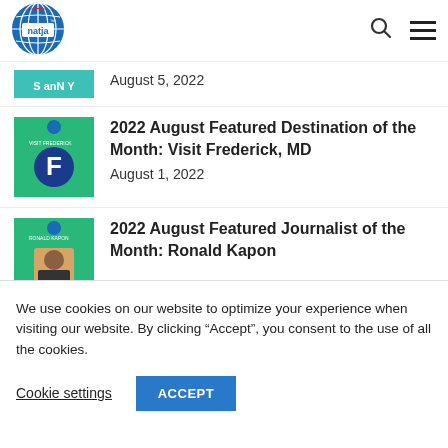[Figure (logo): NATJA logo — globe with red/blue/white and natja text]
August 5, 2022
[Figure (photo): Green thumbnail with Visit Frederick F logo]
2022 August Featured Destination of the Month: Visit Frederick, MD
August 1, 2022
[Figure (photo): Green thumbnail with Ronald Kapon photo]
2022 August Featured Journalist of the Month: Ronald Kapon
We use cookies on our website to optimize your experience when visiting our website. By clicking “Accept”, you consent to the use of all the cookies.
Cookie settings
ACCEPT